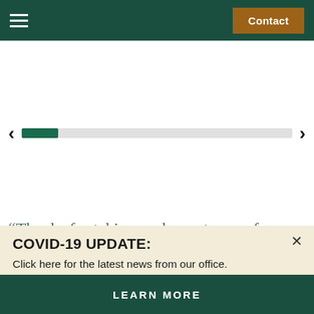Contact
[Figure (screenshot): Website navigation bar with hamburger menu icon on left and Contact button on right, dark green background]
[Figure (screenshot): Image slider area with left and right navigation arrows and a progress bar indicator showing first segment in dark green]
“Thanks for taking such great care of my family.”
COVID-19 UPDATE:
Click here for the latest news from our office.
LEARN MORE